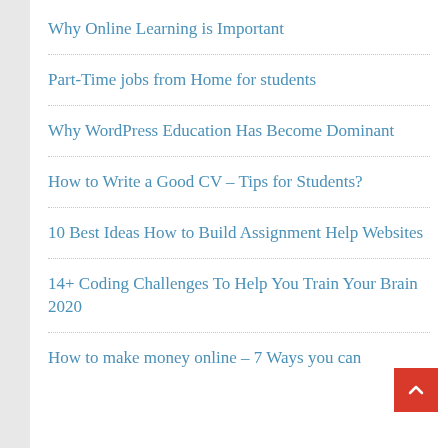Why Online Learning is Important
Part-Time jobs from Home for students
Why WordPress Education Has Become Dominant
How to Write a Good CV – Tips for Students?
10 Best Ideas How to Build Assignment Help Websites
14+ Coding Challenges To Help You Train Your Brain 2020
How to make money online – 7 Ways you can